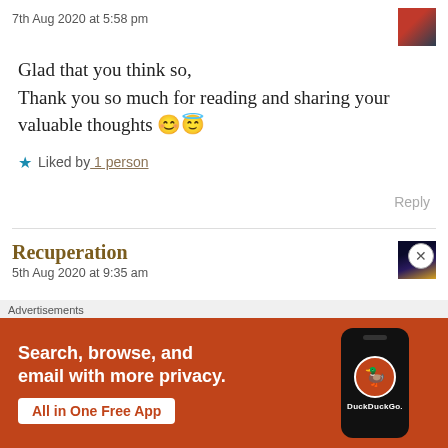7th Aug 2020 at 5:58 pm
Glad that you think so,
Thank you so much for reading and sharing your valuable thoughts 😊😇
★ Liked by 1 person
Reply
Recuperation
5th Aug 2020 at 9:35 am
[Figure (screenshot): DuckDuckGo advertisement banner: orange background with text 'Search, browse, and email with more privacy. All in One Free App' and a phone graphic with DuckDuckGo logo]